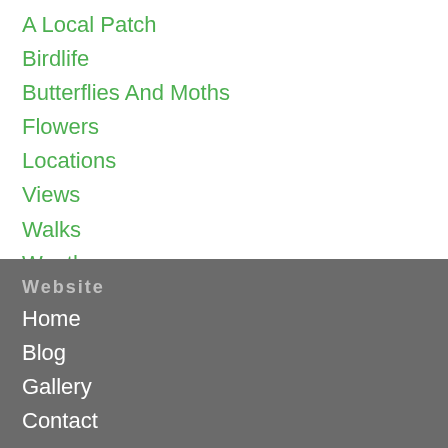A Local Patch
Birdlife
Butterflies And Moths
Flowers
Locations
Views
Walks
Weather
WIldlife
RSS Feed
Website
Home
Blog
Gallery
Contact